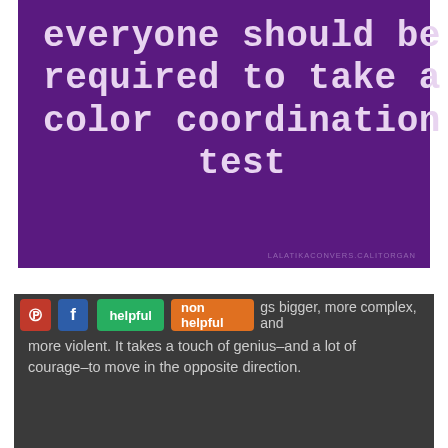[Figure (illustration): Purple background image with white monospace text reading: '...everyone should be required to take a color coordination test' with a faint watermark URL at bottom right.]
helpful  non helpful  ...s bigger, more complex, and more violent. It takes a touch of genius–and a lot of courage–to move in the opposite direction.